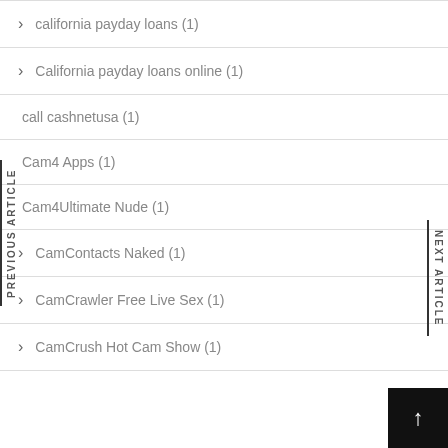california payday loans (1)
California payday loans online (1)
call cashnetusa (1)
Cam4 Apps (1)
Cam4Ultimate Nude (1)
CamContacts Naked (1)
CamCrawler Free Live Sex (1)
CamCrush Hot Cam Show (1)